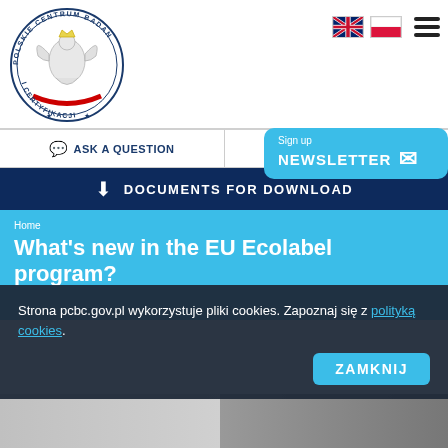[Figure (logo): Polskie Centrum Badań i Certyfikacji logo — Polish eagle in circular text border with red/white ribbon]
[Figure (illustration): UK flag and Polish flag icons plus hamburger menu icon]
ASK A QUESTION
Sign up
NEWSLETTER
DOCUMENTS FOR DOWNLOAD
Home
What's new in the EU Ecolabel program?
Strona pcbc.gov.pl wykorzystuje pliki cookies. Zapoznaj się z polityką cookies.
ZAMKNIJ